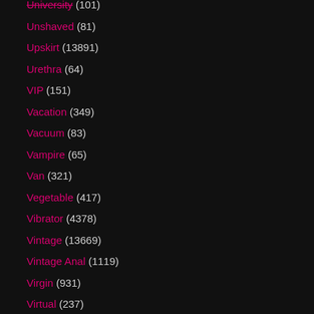University (101)
Unshaved (81)
Upskirt (13891)
Urethra (64)
VIP (151)
Vacation (349)
Vacuum (83)
Vampire (65)
Van (321)
Vegetable (417)
Vibrator (4378)
Vintage (13669)
Vintage Anal (1119)
Virgin (931)
Virtual (237)
Vixen (639)